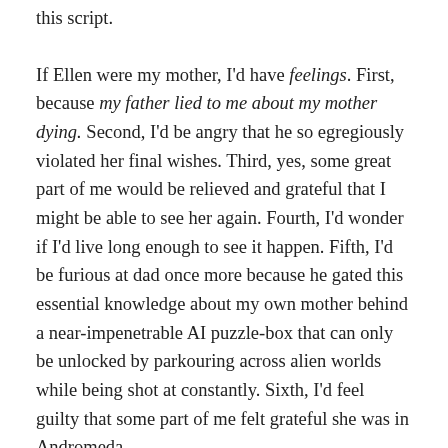this script.
If Ellen were my mother, I'd have feelings. First, because my father lied to me about my mother dying. Second, I'd be angry that he so egregiously violated her final wishes. Third, yes, some great part of me would be relieved and grateful that I might be able to see her again. Fourth, I'd wonder if I'd live long enough to see it happen. Fifth, I'd be furious at dad once more because he gated this essential knowledge about my own mother behind a near-impenetrable AI puzzle-box that can only be unlocked by parkouring across alien worlds while being shot at constantly. Sixth, I'd feel guilty that some part of me felt grateful she was in Andromeda.
All that anguish and grief is the stuff good drama is made